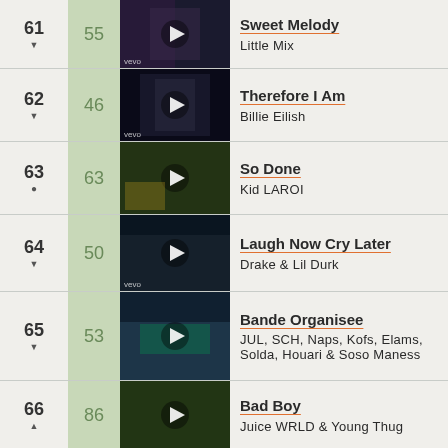| Rank | Peak | Thumbnail | Title | Artist |
| --- | --- | --- | --- | --- |
| 61 ▼ | 55 | [image] | Sweet Melody | Little Mix |
| 62 ▼ | 46 | [image] | Therefore I Am | Billie Eilish |
| 63 • | 63 | [image] | So Done | Kid LAROI |
| 64 ▼ | 50 | [image] | Laugh Now Cry Later | Drake & Lil Durk |
| 65 ▼ | 53 | [image] | Bande Organisee | JUL, SCH, Naps, Kofs, Elams, Solda, Houari & Soso Maness |
| 66 ▲ | 86 | [image] | Bad Boy | Juice WRLD & Young Thug |